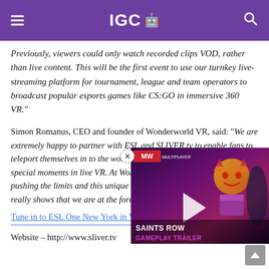IGC
Previously, viewers could only watch recorded clips VOD, rather than live content. This will be the first event to use our turnkey live-streaming platform for tournament, league and team operators to broadcast popular esports games like CS:GO in immersive 360 VR."
Simon Romanus, CEO and founder of Wonderworld VR, said: “We are extremely happy to partner with ESL and SLIVER.tv to enable fans to teleport themselves in to the world of esport and experience the most special moments in live VR. At Wonderworld VR we are always pushing the limits and this unique live 360 degree broadcast with ESL really shows that we are at the forefront of VR.”
Tune in to ESL One New York in VR here on October 1-2!
[Figure (screenshot): Saints Row Gameplay Trailer video overlay thumbnail with MW badge, play button, and character illustration on dark purple background]
Website – http://www.sliver.tv